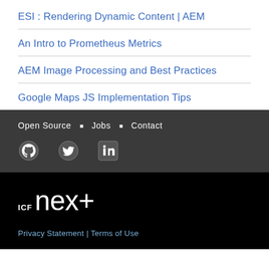ESI : Rendering Dynamic Content | AEM
An Intro to Prometheus Metrics
AEM Image Processing and Best Practices
Google Maps JS Implementation Tips
Open Source · Jobs · Contact
[Figure (logo): Social media icons: GitHub, Twitter, LinkedIn]
[Figure (logo): ICF next+ logo in white on black background]
Privacy Statement | Terms of Use